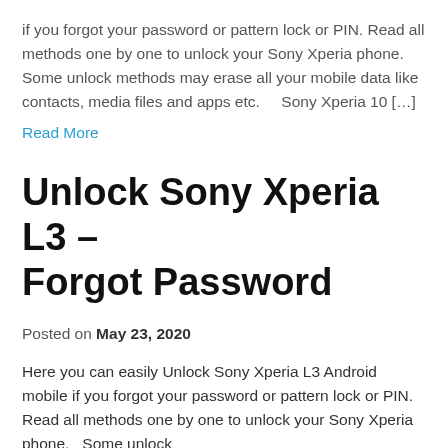if you forgot your password or pattern lock or PIN. Read all methods one by one to unlock your Sony Xperia phone.   Some unlock methods may erase all your mobile data like contacts, media files and apps etc.     Sony Xperia 10 […]
Read More
Unlock Sony Xperia L3 – Forgot Password
Posted on May 23, 2020
Here you can easily Unlock Sony Xperia L3 Android mobile if you forgot your password or pattern lock or PIN. Read all methods one by one to unlock your Sony Xperia phone.   Some unlock